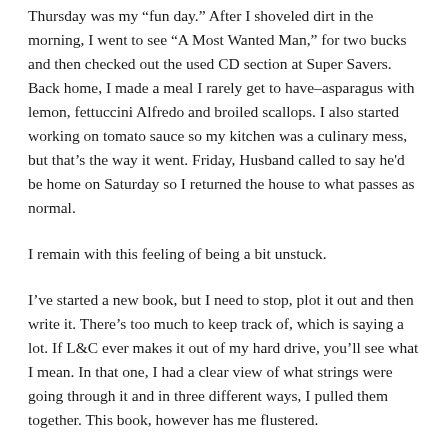Thursday was my “fun day.” After I shoveled dirt in the morning, I went to see “A Most Wanted Man,” for two bucks and then checked out the used CD section at Super Savers. Back home, I made a meal I rarely get to have–asparagus with lemon, fettuccini Alfredo and broiled scallops. I also started working on tomato sauce so my kitchen was a culinary mess, but that’s the way it went. Friday, Husband called to say he'd be home on Saturday so I returned the house to what passes as normal.
I remain with this feeling of being a bit unstuck.
I’ve started a new book, but I need to stop, plot it out and then write it. There’s too much to keep track of, which is saying a lot. If L&C ever makes it out of my hard drive, you’ll see what I mean. In that one, I had a clear view of what strings were going through it and in three different ways, I pulled them together. This book, however has me flustered.
Perhaps I just need more time away from the last book. I sent pages from an earlier novel to the critique group to hear if they thought it